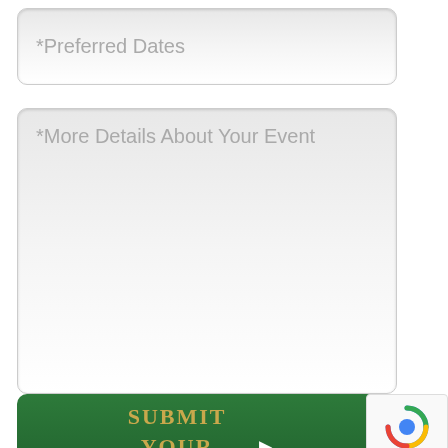*Preferred Dates
*More Details About Your Event
Submit Your Request